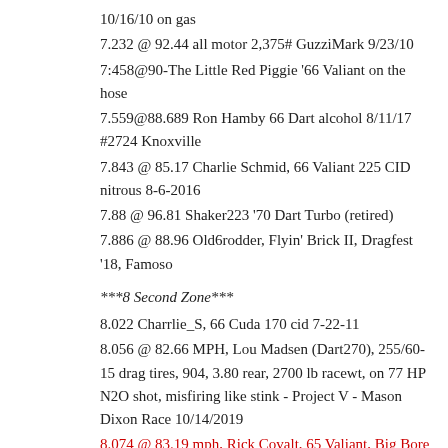10/16/10 on gas
7.232 @ 92.44 all motor 2,375# GuzziMark 9/23/10
7:458@90-The Little Red Piggie '66 Valiant on the hose
7.559@88.689 Ron Hamby 66 Dart alcohol 8/11/17 #2724 Knoxville
7.843 @ 85.17 Charlie Schmid, 66 Valiant 225 CID nitrous 8-6-2016
7.88 @ 96.81 Shaker223 '70 Dart Turbo (retired)
7.886 @ 88.96 Old6rodder, Flyin' Brick II, Dragfest '18, Famoso
***8 Second Zone***
8.022 Charrlie_S, 66 Cuda 170 cid 7-22-11
8.056 @ 82.66 MPH, Lou Madsen (Dart270), 255/60-15 drag tires, 904, 3.80 rear, 2700 lb racewt, on 77 HP N2O shot, misfiring like stink - Project V - Mason Dixon Race 10/14/2019
8.074 @ 83.19 mph, Rick Covalt, 65 Valiant, Big Bore III, 2775#, 4.30's, Webers, Mason Dixon 10/13/2019- All motor
8.137 @ 87.0460 MPH, Lou Madsen, '68 Dart 270, 200-4R trans w/2600 stall, 3.55 8.75", 275/50-15 M/T drag radials, 14 psi boost, 3250 racewt, Clay City race 9/9/17, drove there+back (1/8 D/U records for ET and MPH)
8.21 @ 83.40 - PJ Jesiolowski, 72 Demon @ Sacramento